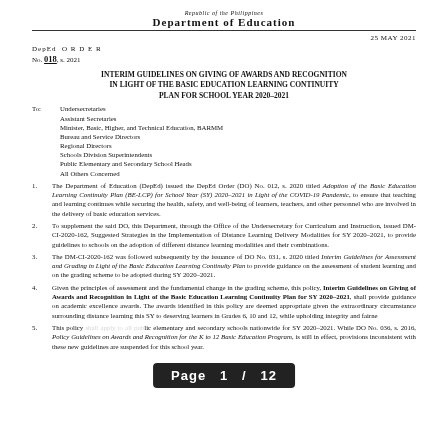Republic of the Philippines
Department of Education
25 MAY 2021
DepEd ORDER
No. 018, s. 2021
INTERIM GUIDELINES ON GIVING OF AWARDS AND RECOGNITION IN LIGHT OF THE BASIC EDUCATION LEARNING CONTINUITY PLAN FOR SCHOOL YEAR 2020-2021
To:	Undersecretaries
	Assistant Secretaries
	Minister, Basic, Higher, and Technical Education, BARMM
	Bureau and Service Directors
	Regional Directors
	Schools Division Superintendents
	Public Elementary and Secondary School Heads
	All Others Concerned
1.	The Department of Education (DepEd) issued the DepEd Order (DO) No. 012, s. 2020 titled Adoption of the Basic Education Learning Continuity Plan (BE-LCP) for School Year (SY) 2020-2021 in Light of the COVID-19 Pandemic, to ensure that teaching and learning continues while securing the health, safety, and well-being of learners, teachers, and other personnel who are involved in the delivery of basic education services.
2.	To supplement the said DO, this Department, through the Office of the Undersecretary for Curriculum and Instruction, issued DM-CI-2020-162, Suggested Strategies in the Implementation of Distance Learning Delivery Modalities for SY 2020-2021, to provide guidelines to schools on the adoption of different distance learning modalities and their combinations.
3.	The DM-CI-2020-162 was followed subsequently by the issuance of DO No. 031, s. 2020 titled Interim Guidelines for Assessment and Grading in Light of the Basic Education Learning Continuity Plan to provide guidance on the assessment of student learning and on the grading scheme to be adopted during SY 2020-2021.
4.	Given the principles of assessment and the fundamental change in the grading scheme, this policy, Interim Guidelines on Giving of Awards and Recognition in Light of the Basic Education Learning Continuity Plan for SY 2020-2021, shall provide guidance on academic excellence awards. The awards identified in this policy are deemed appropriate given the extraordinary circumstance surrounding distance learning this SY to deserving learners in Grades 6, 10 and 12, while upholding integrity and fairness.
5.	This policy shall apply to all public elementary and secondary schools nationwide for SY 2020-2021. While DO No. 036, s. 2016, Policy Guidelines on Awards and Recognition for the K to 12 Basic Education Program, is still in effect, provisions inconsistent with these new guidelines are suspended for this school year.